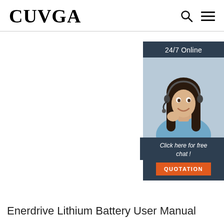CUVGA
[Figure (illustration): Customer service widget with a woman wearing a headset, dark blue background, '24/7 Online' header, 'Click here for free chat!' text, and an orange QUOTATION button]
Enerdrive Lithium Battery User Manual